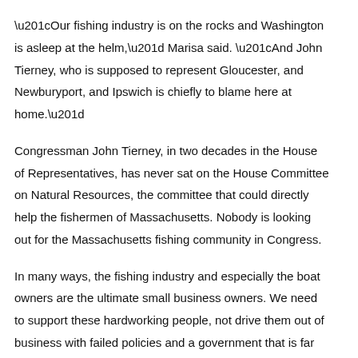“Our fishing industry is on the rocks and Washington is asleep at the helm,” Marisa said. “And John Tierney, who is supposed to represent Gloucester, and Newburyport, and Ipswich is chiefly to blame here at home.”
Congressman John Tierney, in two decades in the House of Representatives, has never sat on the House Committee on Natural Resources, the committee that could directly help the fishermen of Massachusetts. Nobody is looking out for the Massachusetts fishing community in Congress.
In many ways, the fishing industry and especially the boat owners are the ultimate small business owners. We need to support these hardworking people, not drive them out of business with failed policies and a government that is far too often the foe rather than a friend.
That’s why Marisa DeFranco, candidate for Congress, supports